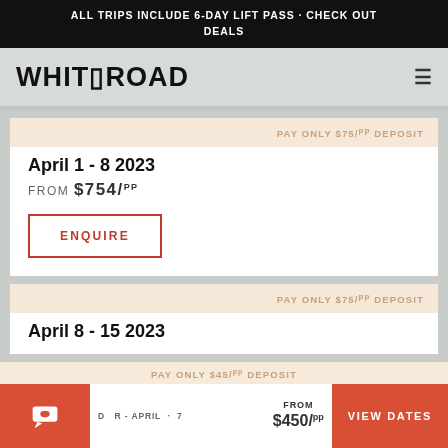ALL TRIPS INCLUDE 6-DAY LIFT PASS · CHECK OUT DEALS
WHITEROAD
PAY ONLY $75/pp DEPOSIT
April 1 - 8 2023
FROM $754/pp
ENQUIRE
PAY ONLY $75/pp DEPOSIT
April 8 - 15 2023
PAY ONLY $45/pp DEPOSIT
DECEMBER - APRIL · 7
FROM $450/pp
VIEW DATES